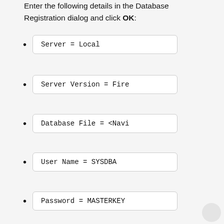Enter the following details in the Database Registration dialog and click OK:
Server = Local
Server Version = Fire
Database File = <Navi
User Name = SYSDBA
Password = MASTERKEY
7. You must then register the database and under services choose validation and